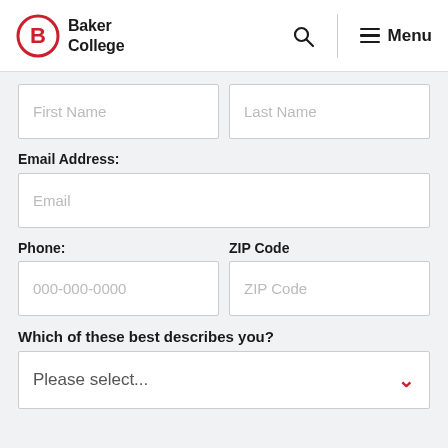[Figure (logo): Baker College logo with red circle containing B letter and Baker College text beside it]
First Name
Last Name
Email Address:
Email
Phone:
ZIP Code
000-000-0000
ZIP Code
Which of these best describes you?
Please select...